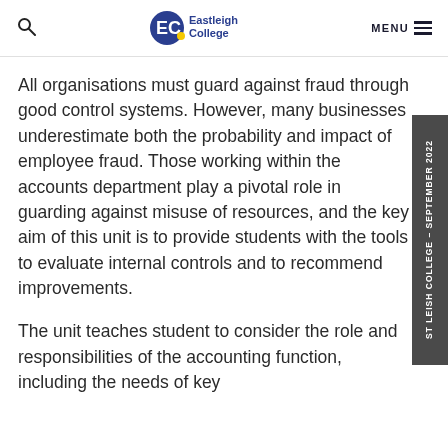Eastleigh College – MENU
All organisations must guard against fraud through good control systems. However, many businesses underestimate both the probability and impact of employee fraud. Those working within the accounts department play a pivotal role in guarding against misuse of resources, and the key aim of this unit is to provide students with the tools to evaluate internal controls and to recommend improvements.
The unit teaches student to consider the role and responsibilities of the accounting function, including the needs of key